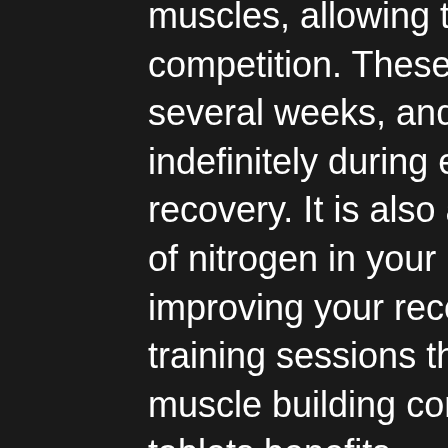muscles, allowing them to be used during competition. These gains will typically last several weeks, and should continue indefinitely during extended post-competition recovery. It is also able to increase your levels of nitrogen in your body in the process, improving your recovery from the grueling training sessions that you did for those big muscle building competitions, stanozolol tablets benefits.
In fact, Stanozolol appears to do more to boost your performance than any other supplement in the world. Even some of the most prestigious powerlifting competitions in the world use it: in 2014, the U, winstrol supplement.S, winstrol supplement. Figure Championships used it for six weeks during the period from March to May of each year. They are particularly interested in the performance improvements induced by Stanozolol's stimulatory effect on muscle